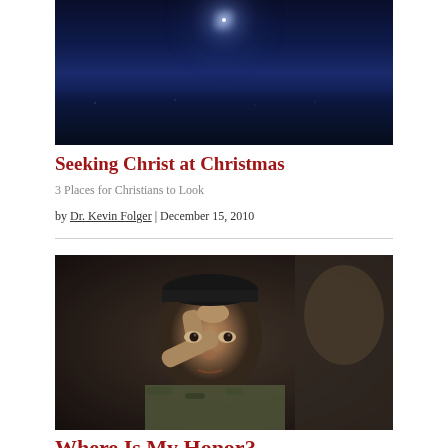[Figure (photo): Night sky with bright star shining over dark treeline silhouette, deep blue tones]
Seeking Christ at Christmas
3 Places for Christians to Look
by Dr. Kevin Folger | December 15, 2010
[Figure (photo): Young Asian male soldier in camouflage uniform saluting, close-up portrait, another uniformed figure visible from behind on right]
Where Is My Honor?